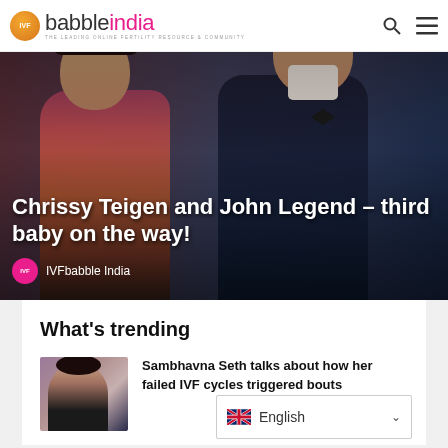IVFbabble India — THE LEADING ONLINE FERTILITY RESOURCE & COMMUNITY
[Figure (photo): Hero image of Chrissy Teigen and John Legend couple photo with headline overlay: 'Chrissy Teigen and John Legend – third baby on the way!' and author label 'IVFbabble India']
Chrissy Teigen and John Legend – third baby on the way!
What's trending
[Figure (photo): Thumbnail photo of Sambhavna Seth]
Sambhavna Seth talks about how her failed IVF cycles triggered bouts